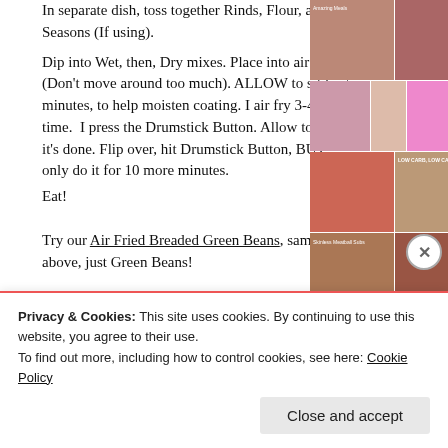In separate dish, toss together Rinds, Flour, and Seasons (If using).
Dip into Wet, then, Dry mixes. Place into air fryer (Don't move around too much). ALLOW to sit for 5 minutes, to help moisten coating. I air fry 3-4 at a time. I press the Drumstick Button. Allow to run til it's done. Flip over, hit Drumstick Button, BUT, only do it for 10 more minutes.
Eat!
Try our Air Fried Breaded Green Beans, same as above, just Green Beans!
[Figure (photo): Collage of food photos including various dishes, soups, meats, and baked goods arranged in a grid on the right side of the page]
Privacy & Cookies: This site uses cookies. By continuing to use this website, you agree to their use. To find out more, including how to control cookies, see here: Cookie Policy
Close and accept